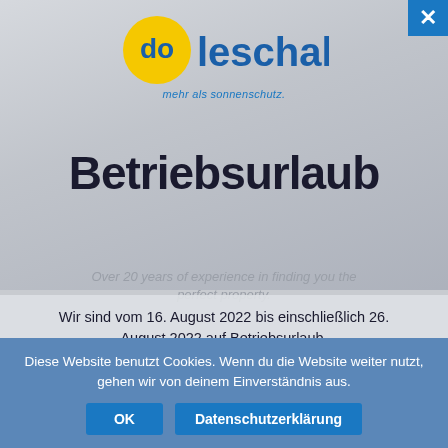[Figure (logo): Doleschal logo with yellow circle containing 'do' text, blue 'leschal' text, and italic tagline 'mehr als sonnenschutz.']
Betriebsurlaub
Over 20 years of experience in finding you the perfect property.
Wir sind vom 16. August 2022 bis einschließlich 26. August 2022 auf Betriebsurlaub.

Ab 29. August 2022 sind wir wieder mit vollem Einsatz für unsere Kunden da.
Diese Website benutzt Cookies. Wenn du die Website weiter nutzt, gehen wir von deinem Einverständnis aus.
OK | Datenschutzerklärung